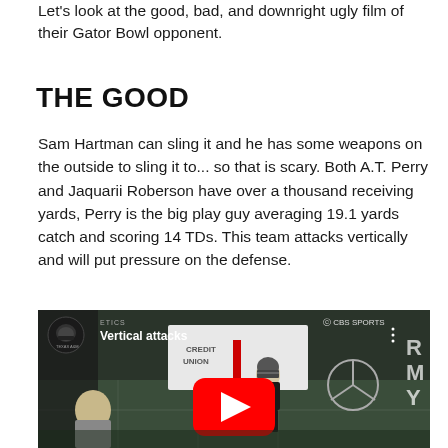Let's look at the good, bad, and downright ugly film of their Gator Bowl opponent.
THE GOOD
Sam Hartman can sling it and he has some weapons on the outside to sling it to... so that is scary. Both A.T. Perry and Jaquarii Roberson have over a thousand receiving yards, Perry is the big play guy averaging 19.1 yards catch and scoring 14 TDs. This team attacks vertically and will put pressure on the defense.
[Figure (screenshot): YouTube video thumbnail showing a football game clip titled 'Vertical attacks' with a player wearing jersey number 5 on a football field. CBS Sports watermark visible. YouTube play button overlay in center. Texas A&M channel icon in top left.]